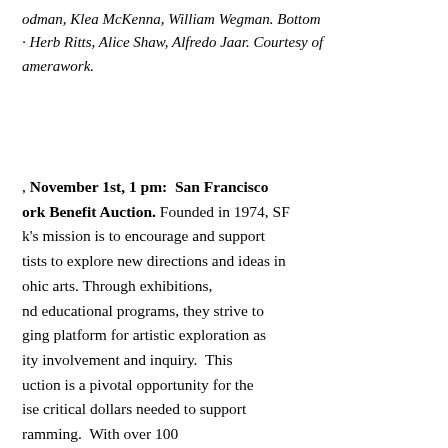odman, Klea McKenna, William Wegman. Bottom · Herb Ritts, Alice Shaw, Alfredo Jaar. Courtesy of amerawork.
, November 1st, 1 pm: San Francisco ork Benefit Auction. Founded in 1974, SF k's mission is to encourage and support tists to explore new directions and ideas in ohic arts. Through exhibitions, and educational programs, they strive to ging platform for artistic exploration as ity involvement and inquiry. This uction is a pivotal opportunity for the ise critical dollars needed to support ramming. With over 100 ble to bid on there's a great from. Advance tickets for $20 are e here. The auction catalog may